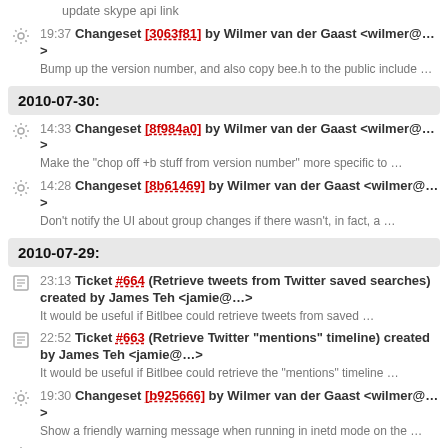update skype api link
19:37 Changeset [3063f81] by Wilmer van der Gaast <wilmer@…>
Bump up the version number, and also copy bee.h to the public include …
2010-07-30:
14:33 Changeset [8f984a0] by Wilmer van der Gaast <wilmer@…>
Make the "chop off +b stuff from version number" more specific to …
14:28 Changeset [8b61469] by Wilmer van der Gaast <wilmer@…>
Don't notify the UI about group changes if there wasn't, in fact, a …
2010-07-29:
23:13 Ticket #664 (Retrieve tweets from Twitter saved searches) created by James Teh <jamie@…>
It would be useful if Bitlbee could retrieve tweets from saved …
22:52 Ticket #663 (Retrieve Twitter "mentions" timeline) created by James Teh <jamie@…>
It would be useful if Bitlbee could retrieve the "mentions" timeline …
19:30 Changeset [b925666] by Wilmer van der Gaast <wilmer@…>
Show a friendly warning message when running in inetd mode on the …
19:17 Changeset [1521a85] by Wilmer van der Gaast <wilmer@…>